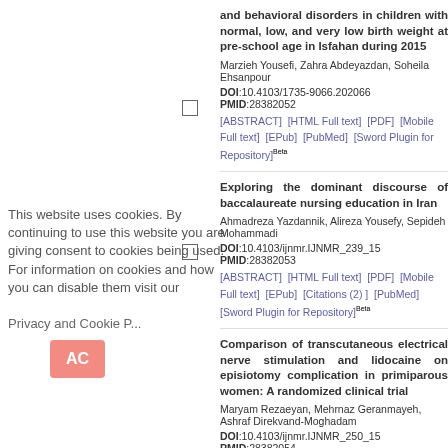This website uses cookies. By continuing to use this website you are giving consent to cookies being used. For information on cookies and how you can disable them visit our Privacy and Cookie Policy.
ACCEPT
and behavioral disorders in children with normal, low, and very low birth weight at pre-school age in Isfahan during 2015
Marzieh Yousefi, Zahra Abdeyazdan, Soheila Ehsanpour
DOI:10.4103/1735-9066.202066  PMID:28382052
[ABSTRACT]  [HTML Full text]  [PDF]  [Mobile Full text]  [EPub]  [PubMed]  [Sword Plugin for Repository]Beta
Exploring the dominant discourse of baccalaureate nursing education in Iran
Ahmadreza Yazdannik, Alireza Yousefy, Sepideh Mohammadi
DOI:10.4103/ijnmr.IJNMR_239_15  PMID:28382053
[ABSTRACT]  [HTML Full text]  [PDF]  [Mobile Full text]  [EPub]  [Citations (2)]  [PubMed]  [Sword Plugin for Repository]Beta
Comparison of transcutaneous electrical nerve stimulation and lidocaine on episiotomy complication in primiparous women: A randomized clinical trial
Maryam Rezaeyan, Mehrnaz Geranmayeh, Ashraf Direkvand-Moghadam
DOI:10.4103/ijnmr.IJNMR_250_15  PMID:28382054
[ABSTRACT]  [HTML Full text]  [PDF]  [Mobile Full text]  [EPub]  [Citations (1)]  [PubMed]  [Sword Plugin for Repository]Beta